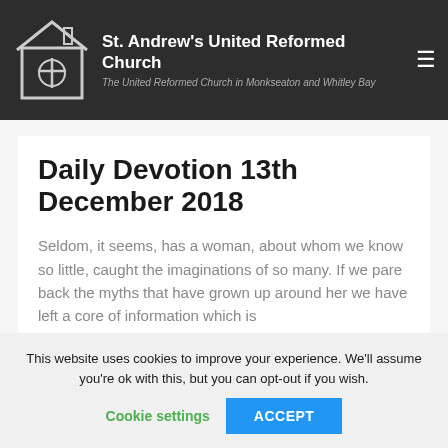St. Andrew's United Reformed Church — The United Reformed Church in Monkseaton and Whitley Bay
Daily Devotion 13th December 2018
Seldom, it seems, has a woman, about whom we know so little, caught the imaginations of so many. If we pare back the myths that have grown up around her we have left a core of information which is
This website uses cookies to improve your experience. We'll assume you're ok with this, but you can opt-out if you wish.